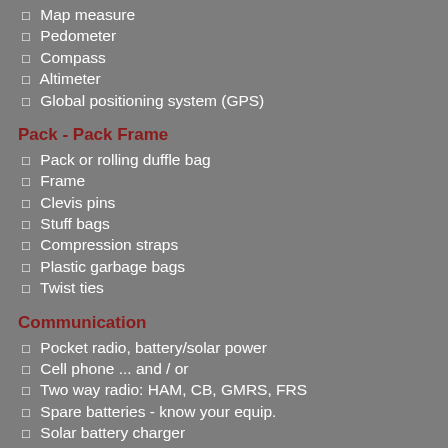Map measure
Pedometer
Compass
Altimeter
Global positioning system (GPS)
Pack - Pack Frame
Pack or rolling duffle bag
Frame
Clevis pins
Stuff bags
Compression straps
Plastic garbage bags
Twist ties
Communication
Pocket radio, battery/solar power
Cell phone ... and / or
Two way radio: HAM, CB, GMRS, FRS
Spare batteries - know your equip.
Solar battery charger